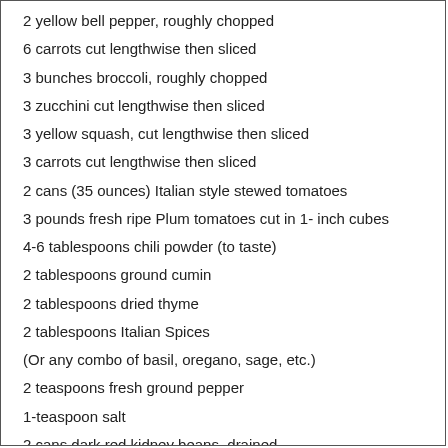2 yellow bell pepper, roughly chopped
6 carrots cut lengthwise then sliced
3 bunches broccoli, roughly chopped
3 zucchini cut lengthwise then sliced
3 yellow squash, cut lengthwise then sliced
3 carrots cut lengthwise then sliced
2 cans (35 ounces) Italian style stewed tomatoes
3 pounds fresh ripe Plum tomatoes cut in 1- inch cubes
4-6 tablespoons chili powder (to taste)
2 tablespoons ground cumin
2 tablespoons dried thyme
2 tablespoons Italian Spices
(Or any combo of basil, oregano, sage, etc.)
2 teaspoons fresh ground pepper
1-teaspoon salt
2 cans dark red kidney beans, drained
2 cans garbanzo beans, drained
2 cans tomato sauce